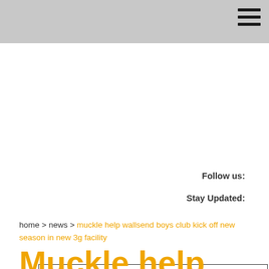Follow us:
Stay Updated:
home > news > muckle help wallsend boys club kick off new season in new 3g facility
Muckle help